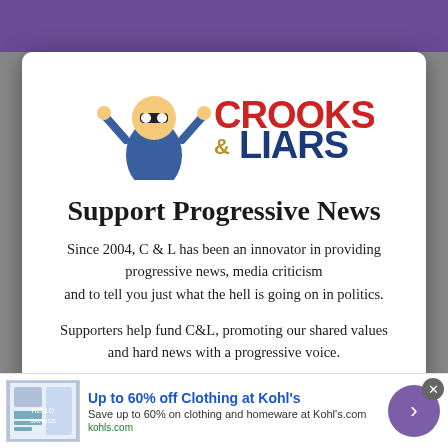[Figure (logo): Crooks & Liars logo with cartoon character and red/blue/gold text]
Support Progressive News
Since 2004, C & L has been an innovator in providing progressive news, media criticism and to tell you just what the hell is going on in politics.
Supporters help fund C&L, promoting our shared values and hard news with a progressive voice.
Consider becoming a supporter member today.
[Figure (screenshot): Advertisement: Up to 60% off Clothing at Kohl's. Save up to 60% on clothing and homeware at Kohl's.com. kohls.com]